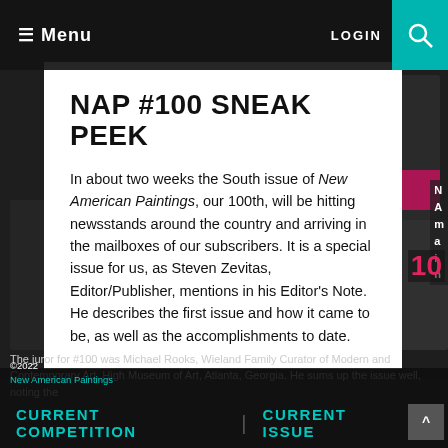≡ Menu   LOGIN 🔍
NAP #100 SNEAK PEEK
In about two weeks the South issue of New American Paintings, our 100th, will be hitting newsstands around the country and arriving in the mailboxes of our subscribers. It is a special issue for us, as Steven Zevitas, Editor/Publisher, mentions in his Editor's Note. He describes the first issue and how it came to be, as well as the accomplishments to date.
©2022
New American Paintings
CURRENT COMPETITION | CURRENT ISSUE
The juror for #100 was Michael Rooks, Wieland Family Curator of Modern and Contemporary Art, High Museum of Art, Atlanta, Georgia. He sums up the issue well, noting the